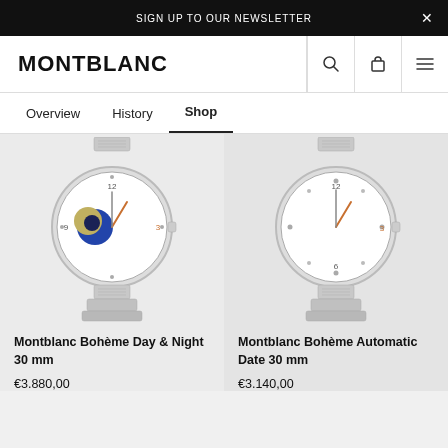SIGN UP TO OUR NEWSLETTER
[Figure (logo): Montblanc logo in bold black uppercase letters]
Overview
History
Shop
[Figure (photo): Montblanc Bohème Day & Night 30 mm watch with moonphase complication, white dial, steel bracelet]
Montblanc Bohème Day & Night 30 mm
€3.880,00
[Figure (photo): Montblanc Bohème Automatic Date 30 mm watch, white dial, steel bracelet]
Montblanc Bohème Automatic Date 30 mm
€3.140,00